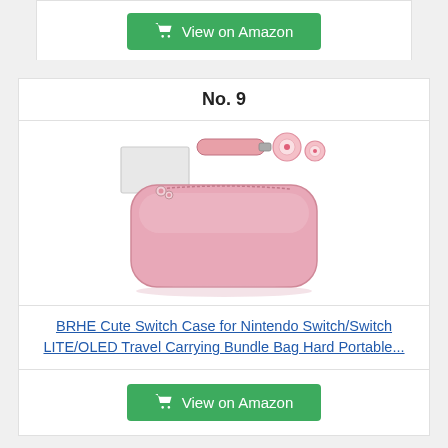[Figure (other): Shopping cart button - View on Amazon (top, partial/cut off)]
No. 9
[Figure (photo): Pink BRHE Nintendo Switch carrying case with accessories including a screen protector, strap, and thumb grips displayed above the case]
BRHE Cute Switch Case for Nintendo Switch/Switch LITE/OLED Travel Carrying Bundle Bag Hard Portable...
[Figure (other): Shopping cart button - View on Amazon (bottom)]